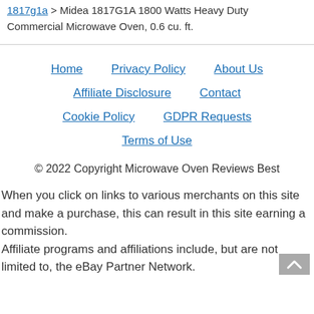1817g1a > Midea 1817G1A 1800 Watts Heavy Duty Commercial Microwave Oven, 0.6 cu. ft.
Home   Privacy Policy   About Us   Affiliate Disclosure   Contact   Cookie Policy   GDPR Requests   Terms of Use
© 2022 Copyright Microwave Oven Reviews Best
When you click on links to various merchants on this site and make a purchase, this can result in this site earning a commission.
Affiliate programs and affiliations include, but are not limited to, the eBay Partner Network.